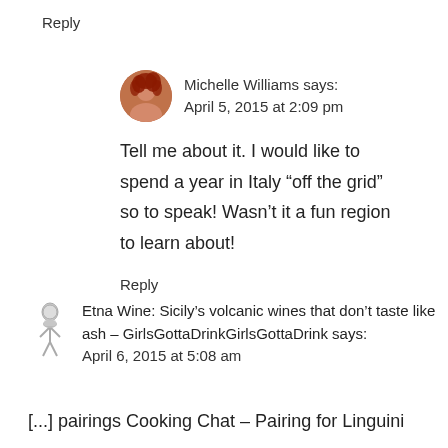Reply
Michelle Williams says:
April 5, 2015 at 2:09 pm
Tell me about it. I would like to spend a year in Italy “off the grid” so to speak! Wasn’t it a fun region to learn about!
Reply
Etna Wine: Sicily’s volcanic wines that don’t taste like ash – GirlsGottaDrinkGirlsGottaDrink says:
April 6, 2015 at 5:08 am
[...] pairings Cooking Chat – Pairing for Linguini